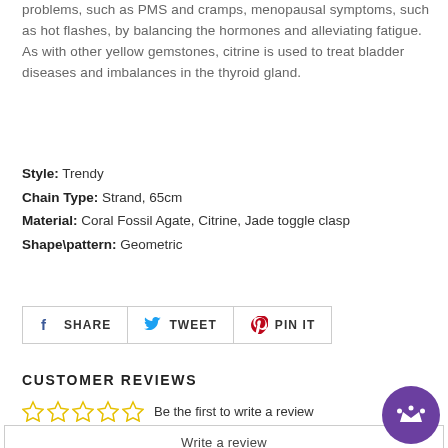problems, such as PMS and cramps, menopausal symptoms, such as hot flashes, by balancing the hormones and alleviating fatigue. As with other yellow gemstones, citrine is used to treat bladder diseases and imbalances in the thyroid gland.
Style: Trendy
Chain Type: Strand, 65cm
Material: Coral Fossil Agate, Citrine, Jade toggle clasp
Shape\pattern: Geometric
[Figure (infographic): Social sharing buttons: Facebook SHARE, Twitter TWEET, Pinterest PIN IT]
CUSTOMER REVIEWS
☆☆☆☆☆  Be the first to write a review
Write a review